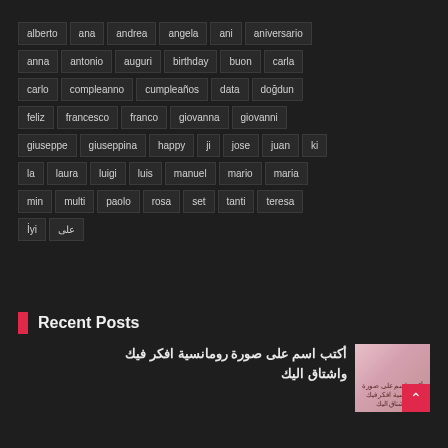alberto ana andrea angela ani aniversario anna antonio auguri birthday buon carla carlo compleanno cumpleaños data doğdun feliz francesco franco giovanna giovanni giuseppe giuseppina happy ji jose juan ki la laura luigi luis manuel mario maria min multi paolo rosa set tanti teresa İyi على
Recent Posts
أكتب اسم على صورة رومانسية افكر فيك واشتاق اليك